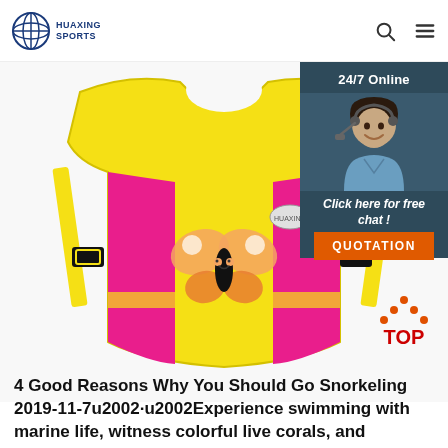HUAXING SPORTS
[Figure (photo): Yellow and pink children's life vest/swim jacket with butterfly design, black buckles and yellow straps]
[Figure (infographic): 24/7 Online chat widget with customer service representative photo, 'Click here for free chat!' text, and orange QUOTATION button]
[Figure (illustration): TOP icon with orange dots forming a triangle/mountain shape above red TOP text]
4 Good Reasons Why You Should Go Snorkeling 2019-11-7u2002·u2002Experience swimming with marine life, witness colorful live corals, and